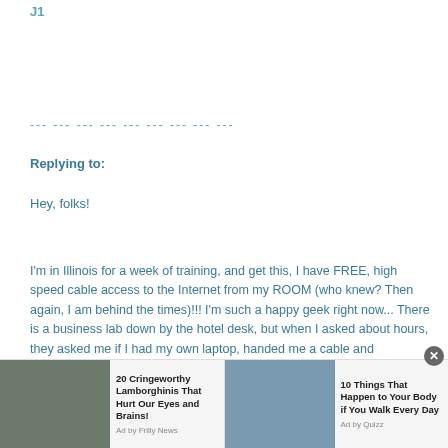J1
--- --- --- --- --- --- --- --- ---
Replying to:
Hey, folks!
I'm in Illinois for a week of training, and get this, I have FREE, high speed cable access to the Internet from my ROOM (who knew? Then again, I am behind the times)!!! I'm such a happy geek right now... There is a business lab down by the hotel desk, but when I asked about hours, they asked me if I had my own laptop, handed me a cable and directions, and here I am! Woo woo!
I was very pleased to see that Buffalo picked up Willis McGahee as their first round draft pick. I don't know what kind of guy he is as an individual, but he could do great things for the Bills (if he doesn't re-injure himself).
[Figure (other): Advertisement bar at the bottom showing two ads: '20 Cringeworthy Lamborghinis That Hurt Our Eyes and Brains! Ad by Frilly News' with a car image, and '10 Things That Happen to Your Body if You Walk Every Day Ad by Quizz' with a walking image. A close button (X) is present.]